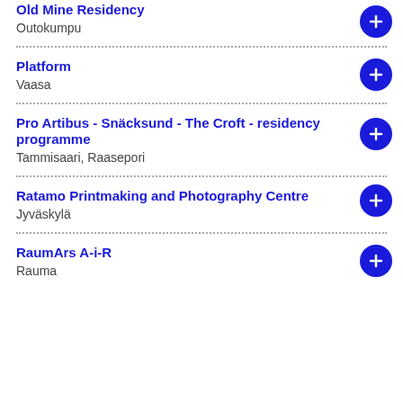Old Mine Residency
Outokumpu
Platform
Vaasa
Pro Artibus - Snäcksund - The Croft - residency programme
Tammisaari, Raasepori
Ratamo Printmaking and Photography Centre
Jyväskylä
RaumArs A-i-R
Rauma